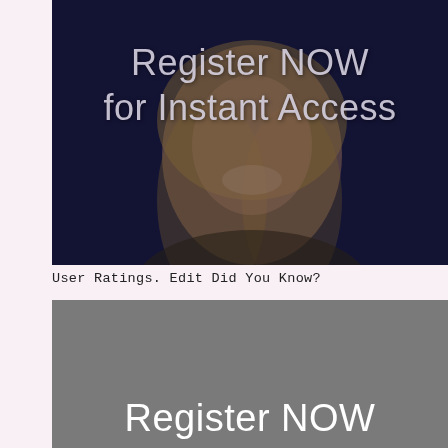[Figure (photo): A photo of a smiling blonde woman on a dark navy background, with large light-colored text overlay reading 'Register NOW for Instant Access']
User Ratings. Edit Did You Know?
[Figure (photo): A gray/dark image block with white text at the bottom beginning with 'Register NOW']